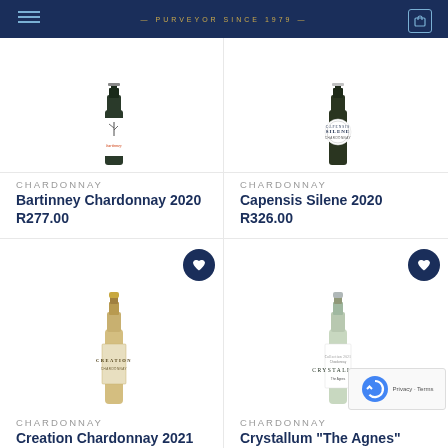PURVEYOR SINCE 1979
[Figure (photo): Bartinney Chardonnay 2020 wine bottle — dark bottle with white label showing a tree branch and 'bartinney' text in red]
CHARDONNAY
Bartinney Chardonnay 2020
R277.00
[Figure (photo): Capensis Silene 2020 wine bottle — dark bottle with circular white label reading 'SILENE CHARDONNAY']
CHARDONNAY
Capensis Silene 2020
R326.00
[Figure (photo): Creation Chardonnay 2021 wine bottle — light golden bottle with gold foil capsule and 'CREATION' label]
CHARDONNAY
Creation Chardonnay 2021
[Figure (photo): Crystallum The Agnes wine bottle — light colored bottle with white label reading 'CRYSTALLUM']
CHARDONNAY
Crystallum "The Agnes"